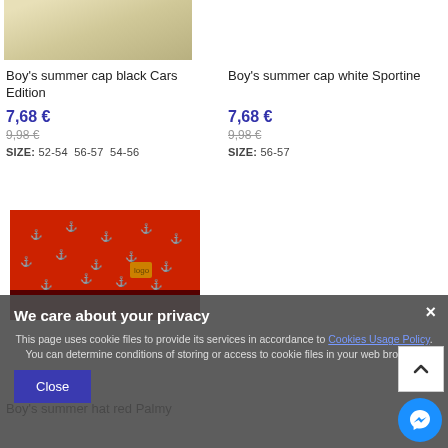[Figure (photo): Partial photo of child wearing summer cap, top portion visible]
Boy's summer cap black Cars Edition
7,68 €
9,98 €
SIZE: 52-54 56-57 54-56
Boy's summer cap white Sportine
7,68 €
9,98 €
SIZE: 56-57
[Figure (photo): Red summer hat with white anchor/palm tree pattern on dark background]
Boy's summer hat red Palmy
We care about your privacy
This page uses cookie files to provide its services in accordance to Cookies Usage Policy. You can determine conditions of storing or access to cookie files in your web browser.
Close